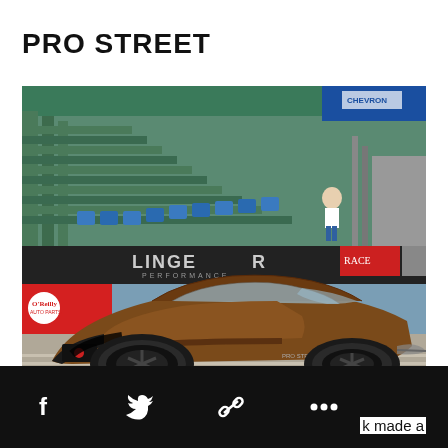PRO STREET
[Figure (photo): A brown Ford Mustang drag racing car on a drag strip track with green grandstand seating and sponsor banners including Linger Performance, O'Reilly, and others visible in the background.]
[Figure (infographic): Black social sharing bar with Facebook, Twitter, link/chain, and more (ellipsis) icons, plus partial text 'k made a']